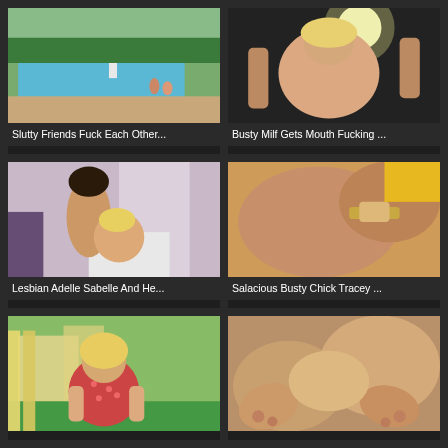[Figure (photo): Outdoor swimming pool scene with two people near the poolside, green hedges in background]
Slutty Friends Fuck Each Other...
[Figure (photo): Blonde woman in adult content scene with studio lighting]
Busty Milf Gets Mouth Fucking ...
[Figure (photo): Two women in adult content scene in purple-walled bathroom setting]
Lesbian Adelle Sabelle And He...
[Figure (photo): Close-up adult content scene with yellow background]
Salacious Busty Chick Tracey ...
[Figure (photo): Blonde woman in red polka dot top in outdoor setting]
[Figure (photo): Close-up adult content scene showing feet/legs]